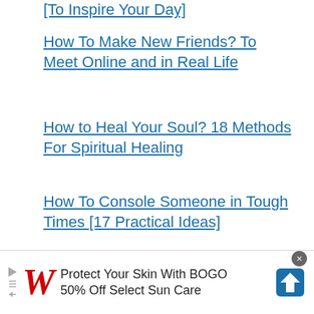[To Inspire Your Day]
How To Make New Friends? To Meet Online and in Real Life
How to Heal Your Soul? 18 Methods For Spiritual Healing
How To Console Someone in Tough Times [17 Practical Ideas]
Fun
[Figure (screenshot): Advertisement banner: Walgreens - Protect Your Skin With BOGO 50% Off Select Sun Care]